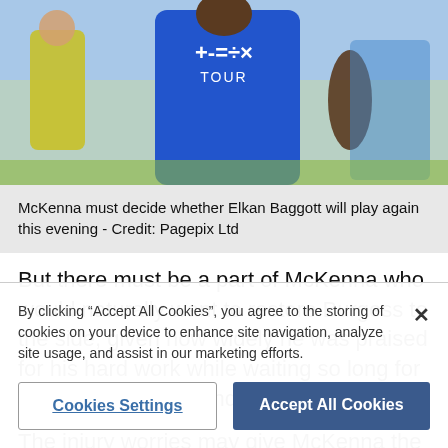[Figure (photo): A footballer wearing a blue jersey with mathematical symbols and 'TOUR' text, running on a pitch. A referee in yellow is visible in the background.]
McKenna must decide whether Elkan Baggott will play again this evening - Credit: Pagepix Ltd
But there must be a part of McKenna who would naturally want to restore Burgess to the side, given how widely he was praised for his hard work while waiting so long for a first appearance under his new boss.
The injury worries may give McKenna the opportunity
By clicking “Accept All Cookies”, you agree to the storing of cookies on your device to enhance site navigation, analyze site usage, and assist in our marketing efforts.
Cookies Settings
Accept All Cookies